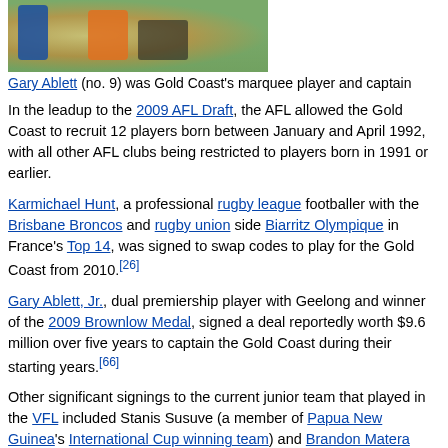[Figure (photo): Photo of football players on a field, Gary Ablett no. 9]
Gary Ablett (no. 9) was Gold Coast's marquee player and captain
In the leadup to the 2009 AFL Draft, the AFL allowed the Gold Coast to recruit 12 players born between January and April 1992, with all other AFL clubs being restricted to players born in 1991 or earlier.
Karmichael Hunt, a professional rugby league footballer with the Brisbane Broncos and rugby union side Biarritz Olympique in France's Top 14, was signed to swap codes to play for the Gold Coast from 2010.[26]
Gary Ablett, Jr., dual premiership player with Geelong and winner of the 2009 Brownlow Medal, signed a deal reportedly worth $9.6 million over five years to captain the Gold Coast during their starting years.[66]
Other significant signings to the current junior team that played in the VFL included Stanis Susuve (a member of Papua New Guinea's International Cup winning team) and Brandon Matera (whose father Wally Matera and uncles Peter and Phil all played senior AFL football with the West Coast Eagles).[30]